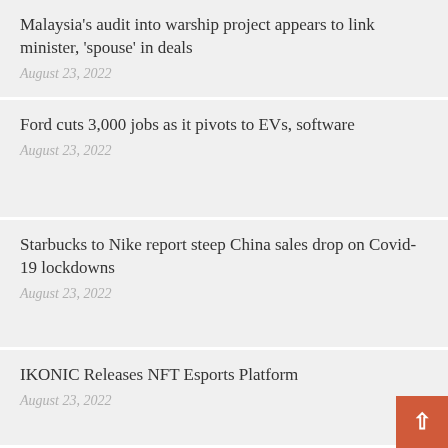Malaysia's audit into warship project appears to link minister, 'spouse' in deals
August 23, 2022
Ford cuts 3,000 jobs as it pivots to EVs, software
August 23, 2022
Starbucks to Nike report steep China sales drop on Covid-19 lockdowns
August 23, 2022
IKONIC Releases NFT Esports Platform
August 23, 2022
UREEQA's partnership with La Flor